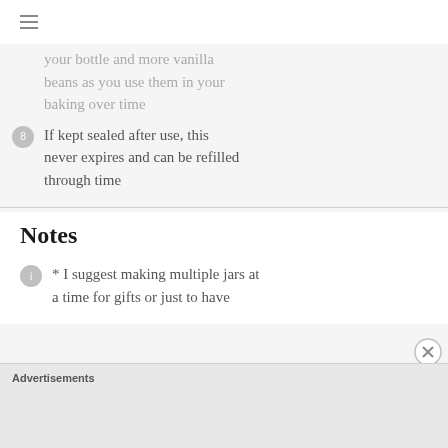≡
…your bottle and more vanilla beans as you use them in your baking over time
8 If kept sealed after use, this never expires and can be refilled through time
Notes
i * I suggest making multiple jars at a time for gifts or just to have
Advertisements